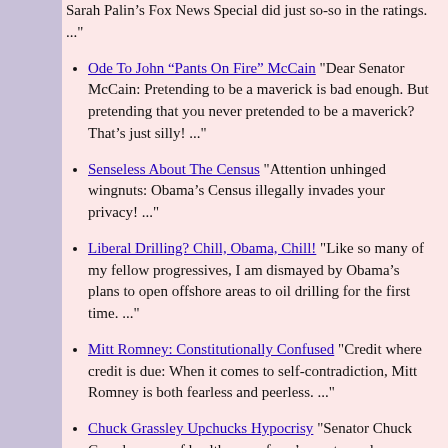Sarah Palin’s Fox News Special did just so-so in the ratings. ..."
Ode To John “Pants On Fire” McCain "Dear Senator McCain: Pretending to be a maverick is bad enough. But pretending that you never pretended to be a maverick? That’s just silly! ..."
Senseless About The Census "Attention unhinged wingnuts: Obama’s Census illegally invades your privacy! ..."
Liberal Drilling? Chill, Obama, Chill! "Like so many of my fellow progressives, I am dismayed by Obama’s plans to open offshore areas to oil drilling for the first time. ..."
Mitt Romney: Constitutionally Confused "Credit where credit is due: When it comes to self-contradiction, Mitt Romney is both fearless and peerless. ..."
Chuck Grassley Upchucks Hypocrisy "Senator Chuck Grassley, one of healthcare reform’s most vocal opponents, has outdone himself. He’s now trying to take credit for portions of the Affordable